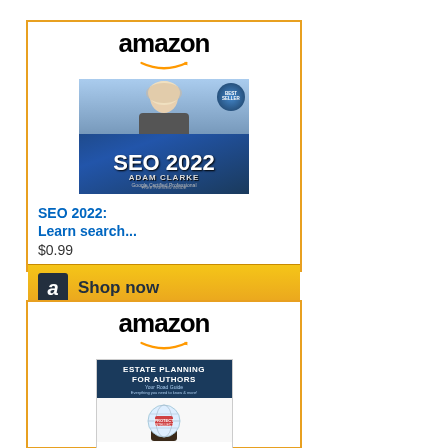[Figure (other): Amazon advertisement for SEO 2022 book by Adam Clarke. Shows Amazon logo, book cover image, title 'SEO 2022: Learn search...', price '$0.99', and 'Shop now' button.]
[Figure (other): Amazon advertisement for Estate Planning for Authors book by M.L. Buchman. Shows Amazon logo and book cover image with title 'Estate Planning'.]